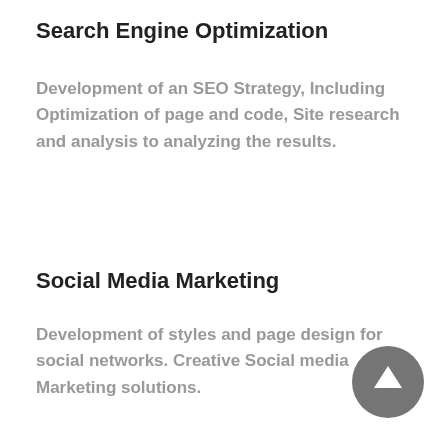Search Engine Optimization
Development of an SEO Strategy, Including Optimization of page and code, Site research and analysis to analyzing the results.
Social Media Marketing
Development of styles and page design for social networks. Creative Social media Marketing solutions.
[Figure (illustration): Dark gray circular button with upward-pointing arrow icon (scroll-to-top button)]